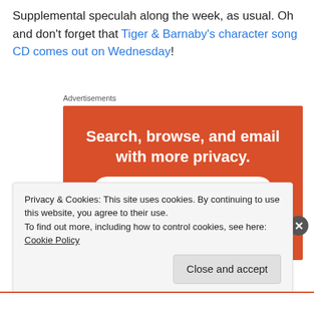Supplemental speculah along the week, as usual. Oh and don't forget that Tiger & Barnaby's character song CD comes out on Wednesday!
Advertisements
[Figure (illustration): DuckDuckGo advertisement: orange background with white bold text 'Search, browse, and email with more privacy.' and a white button saying 'All in One Free App' in orange text. A smartphone with the DuckDuckGo duck logo is shown at the bottom.]
Privacy & Cookies: This site uses cookies. By continuing to use this website, you agree to their use.
To find out more, including how to control cookies, see here: Cookie Policy
Close and accept